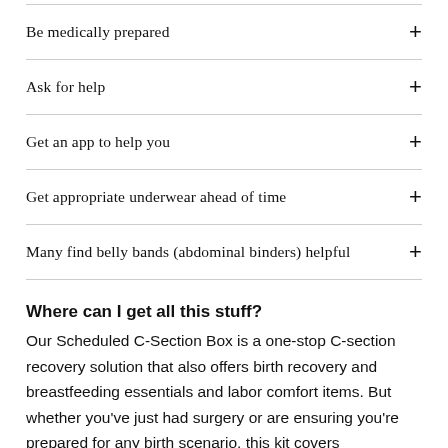Be medically prepared
Ask for help
Get an app to help you
Get appropriate underwear ahead of time
Many find belly bands (abdominal binders) helpful
Where can I get all this stuff?
Our Scheduled C-Section Box is a one-stop C-section recovery solution that also offers birth recovery and breastfeeding essentials and labor comfort items. But whether you've just had surgery or are ensuring you're prepared for any birth scenario, this kit covers